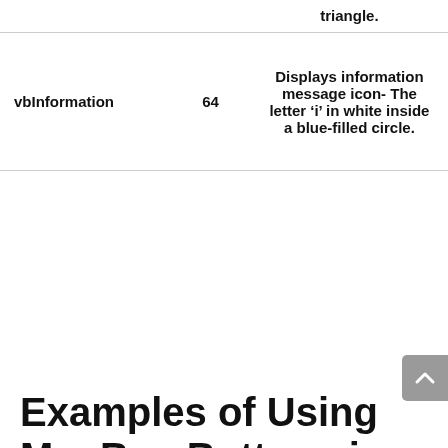|  |  |  |
| --- | --- | --- |
|  |  | triangle. |
| vbInformation | 64 | Displays information message icon- The letter ‘i’ in white inside a blue-filled circle. |
Examples of Using MsgBox Buttons in Excel VBA